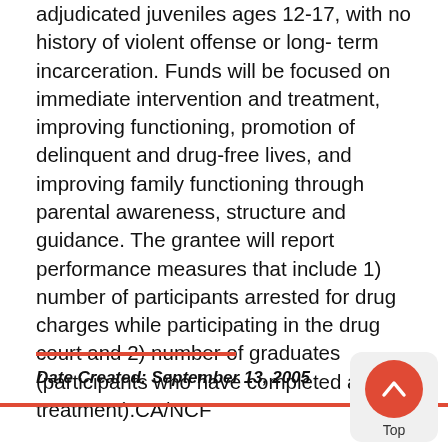adjudicated juveniles ages 12-17, with no history of violent offense or long- term incarceration. Funds will be focused on immediate intervention and treatment, improving functioning, promotion of delinquent and drug-free lives, and improving family functioning through parental awareness, structure and guidance. The grantee will report performance measures that include 1) number of participants arrested for drug charges while participating in the drug court and 2) number of graduates (participants who have completed all treatment).CA/NCF
Date Created: September 13, 2005